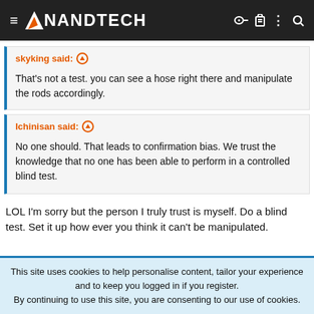AnandTech
skyking said: ↑
That's not a test. you can see a hose right there and manipulate the rods accordingly.
Ichinisan said: ↑
No one should. That leads to confirmation bias. We trust the knowledge that no one has been able to perform in a controlled blind test.
LOL I'm sorry but the person I truly trust is myself. Do a blind test. Set it up how ever you think it can't be manipulated.
This site uses cookies to help personalise content, tailor your experience and to keep you logged in if you register.
By continuing to use this site, you are consenting to our use of cookies.